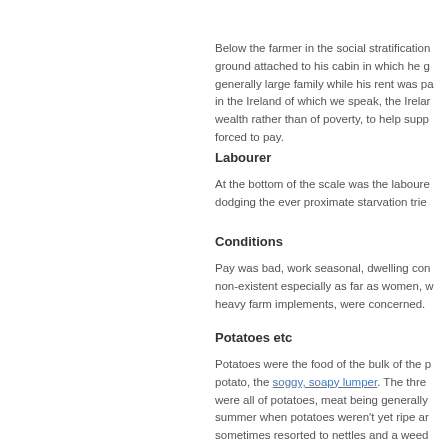Below the farmer in the social stratification... ground attached to his cabin in which he g... generally large family while his rent was pa... in the Ireland of which we speak, the Irela... wealth rather than of poverty, to help supp... forced to pay.
Labourer
At the bottom of the scale was the laboure... dodging the ever proximate starvation trie...
Conditions
Pay was bad, work seasonal, dwelling con... non-existent especially as far as women, w... heavy farm implements, were concerned.
Potatoes etc
Potatoes were the food of the bulk of the p... potato, the soggy, soapy lumper. The three... were all of potatoes, meat being generally... summer when potatoes weren't yet ripe an... sometimes resorted to nettles and a weed...